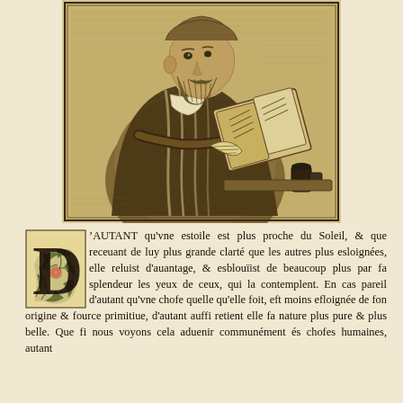[Figure (illustration): An engraved portrait of a bearded scholar or clergyman in robes, holding an open book and a scroll, seated at a writing desk with an inkwell. Renaissance-style engraving.]
D'AUTANT qu'vne estoile est plus proche du Soleil, & que receuant de luy plus grande clarté que les autres plus esloignées, elle reluist d'auantage, & esblouïist de beaucoup plus par sa splendeur les yeux de ceux, qui la contemplent. En cas pareil d'autant qu'vne chose quelle qu'elle soit, est moins esloignée de son origine & source primitiue, d'autant aussi retient elle sa nature plus pure & plus belle. Que si nous voyons cela aduenir communément és choses humaines, autant